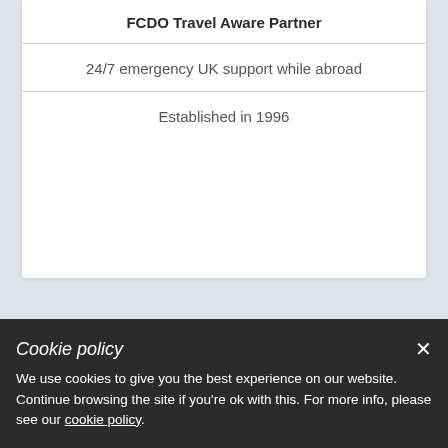FCDO Travel Aware Partner
24/7 emergency UK support while abroad
Established in 1996
Cookie policy
We use cookies to give you the best experience on our website. Continue browsing the site if you're ok with this. For more info, please see our cookie policy.